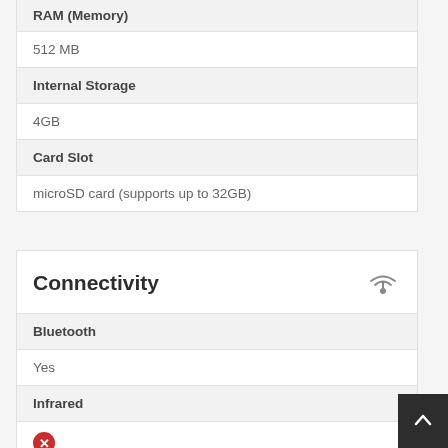| Spec | Value |
| --- | --- |
| RAM (Memory) | 512 MB |
| Internal Storage | 4GB |
| Card Slot | microSD card (supports up to 32GB) |
Connectivity
| Spec | Value |
| --- | --- |
| Bluetooth | Yes |
| Infrared | ✗ |
| Wi-fi |  |